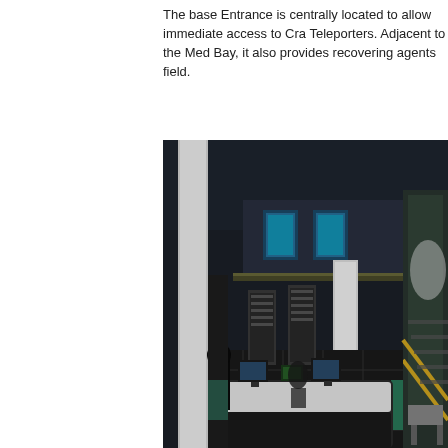The base Entrance is centrally located to allow immediate access to Cra Teleporters. Adjacent to the Med Bay, it also provides recovering agents field.
[Figure (screenshot): A 3D rendered interior screenshot of a sci-fi base entrance area, showing a reception desk in the foreground, large server racks and partitions in the background, a mezzanine level with blue-lit displays, white pillars, and a staircase on the right with yellow safety markings. The floor has a dark grid pattern and the color scheme is dark grey, white, and teal/green.]